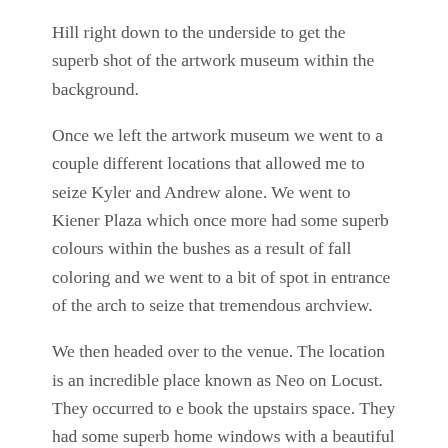Hill right down to the underside to get the superb shot of the artwork museum within the background.
Once we left the artwork museum we went to a couple different locations that allowed me to seize Kyler and Andrew alone. We went to Kiener Plaza which once more had some superb colours within the bushes as a result of fall coloring and we went to a bit of spot in entrance of the arch to seize that tremendous archview.
We then headed over to the venue. The location is an incredible place known as Neo on Locust. They occurred to e book the upstairs space. They had some superb home windows with a beautiful sundown. We additionally obtained rooftop entry which overlooks town of St Louis with once more the arch within the background.
The marriage ceremony was indoor and we captured superb pictures of your complete marriage ceremony occasion in Kyler and Andrew's in the course of the ceremony. After that, they'd